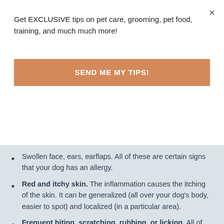Get EXCLUSIVE tips on pet care, grooming, pet food, training, and much much more!
SEND ME MY TIPS!
Swollen face, ears, earflaps. All of these are certain signs that your dog has an allergy.
Red and itchy skin. The inflammation causes the itching of the skin. It can be generalized (all over your dog's body, easier to spot) and localized (in a particular area).
Frequent biting, scratching, rubbing, or licking. All of the above-mentioned skin symptoms cause discomfort and so can cause these additional symptoms. Dogs can rub